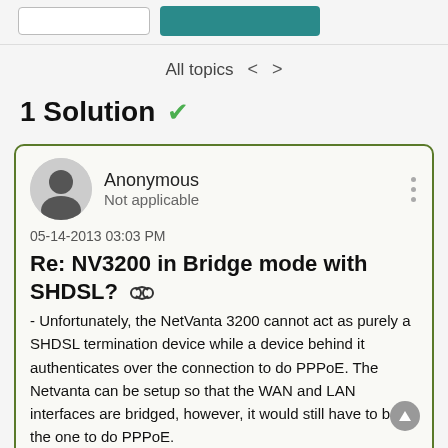All topics
1 Solution
Anonymous
Not applicable
05-14-2013 03:03 PM
Re: NV3200 in Bridge mode with SHDSL?
- Unfortunately, the NetVanta 3200 cannot act as purely a SHDSL termination device while a device behind it authenticates over the connection to do PPPoE. The Netvanta can be setup so that the WAN and LAN interfaces are bridged, however, it would still have to be the one to do PPPoE.